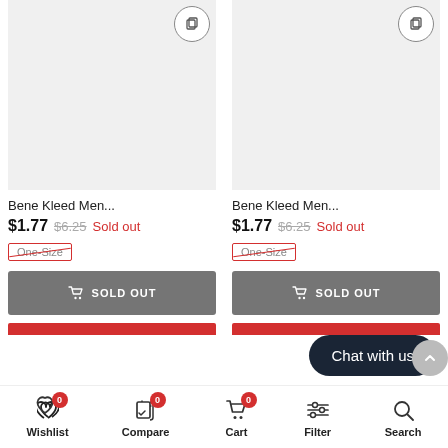[Figure (screenshot): Product image placeholder - gray rectangle with compare icon, left column]
[Figure (screenshot): Product image placeholder - gray rectangle with compare icon, right column]
Bene Kleed Men...
$1.77  $6.25  Sold out
One-Size
SOLD OUT
Bene Kleed Men...
$1.77  $6.25  Sold out
One-Size
SOLD OUT
Chat with us
Wishlist 0  Compare 0  Cart 0  Filter  Search